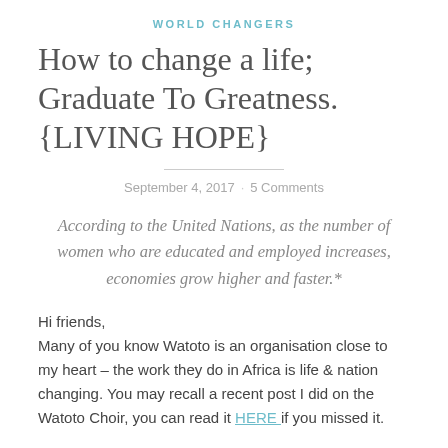WORLD CHANGERS
How to change a life; Graduate To Greatness. {LIVING HOPE}
September 4, 2017 · 5 Comments
According to the United Nations, as the number of women who are educated and employed increases, economies grow higher and faster.*
Hi friends,
Many of you know Watoto is an organisation close to my heart – the work they do in Africa is life & nation changing. You may recall a recent post I did on the Watoto Choir, you can read it HERE if you missed it.
Today I am honoured to be able to share with you